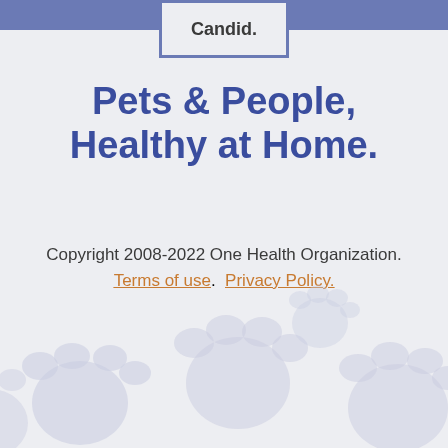[Figure (logo): Candid. logo in a bordered box at the top center of the page]
Pets & People, Healthy at Home.
Copyright 2008-2022 One Health Organization.
Terms of use.  Privacy Policy.